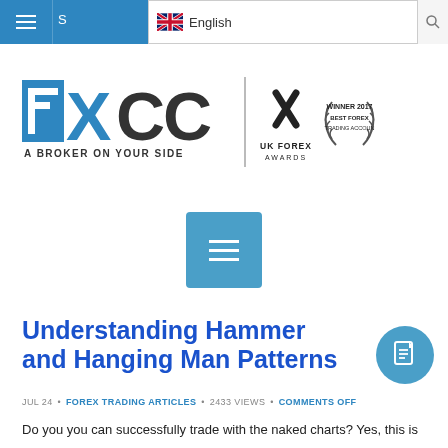Navigation bar with hamburger menu and English language selector
[Figure (logo): FXCC logo with tagline 'A BROKER ON YOUR SIDE', UK Forex Awards logo, and Winner 2017 Best Forex Trading Account medallion]
[Figure (other): Square blue menu/hamburger button centered on page]
Understanding Hammer and Hanging Man Patterns
JUL 24 • FOREX TRADING ARTICLES • 2433 VIEWS • COMMENTS OFF
Do you you can successfully trade with the naked charts? Yes, this is